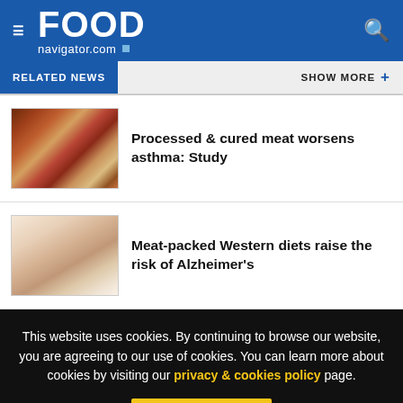FOOD navigator.com
RELATED NEWS  SHOW MORE +
[Figure (photo): Photo of processed and cured meats on a wooden board]
Processed & cured meat worsens asthma: Study
[Figure (photo): Photo of person handling meat packaging]
Meat-packed Western diets raise the risk of Alzheimer's
This website uses cookies. By continuing to browse our website, you are agreeing to our use of cookies. You can learn more about cookies by visiting our privacy & cookies policy page.
I Agree